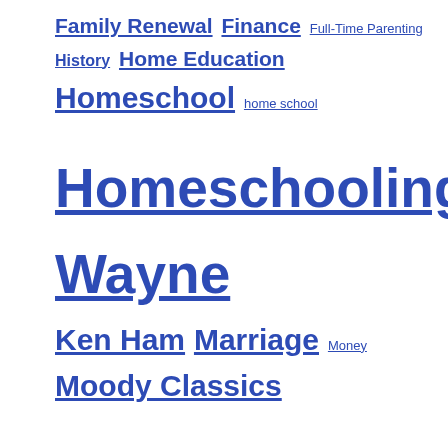Family Renewal Finance Full-Time Parenting History Home Education Homeschool home school Homeschooling Israel Wayne Ken Ham Marriage Money Moody Classics Mothering Parenting Prayer public school Questions God Asks Questions Jesus Asks Raising Them Up Ray Comfort revival Ruth Adams Sermons Spiritual Awakening Theology Women Worldview
[user icon] [search icon] [cart icon with badge 1]